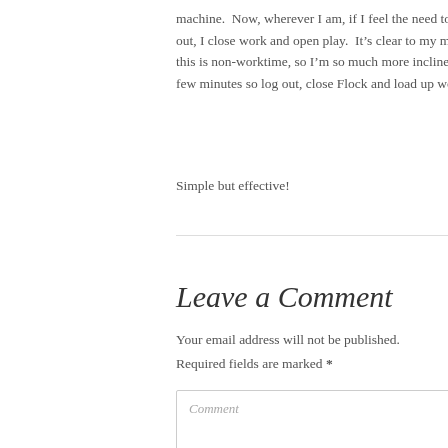machine.  Now, wherever I am, if I feel the need to chill out, I close work and open play.  It’s clear to my mind that this is non-worktime, so I’m so much more inclined after a few minutes so log out, close Flock and load up work.
Simple but effective!
Leave a Comment
Your email address will not be published.
Required fields are marked *
Comment